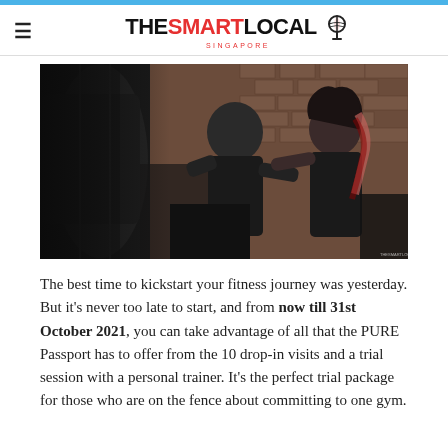THE SMART LOCAL SINGAPORE
[Figure (photo): A man and woman in black athletic wear practicing boxing/fighting moves in front of a punching bag in a gym with exposed brick walls. The man is smiling and guiding the woman's punch form.]
The best time to kickstart your fitness journey was yesterday. But it's never too late to start, and from now till 31st October 2021, you can take advantage of all that the PURE Passport has to offer from the 10 drop-in visits and a trial session with a personal trainer. It's the perfect trial package for those who are on the fence about committing to one gym.